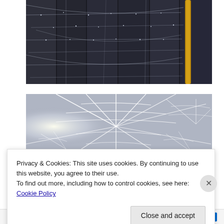[Figure (photo): Close-up photograph of spider webs on dark wooden planks with water droplets, a golden reed or stick visible on the right side]
[Figure (photo): Close-up photograph of a large spider web catching sunlight against a blurred grey background, strands glowing white]
Privacy & Cookies: This site uses cookies. By continuing to use this website, you agree to their use.
To find out more, including how to control cookies, see here: Cookie Policy
Close and accept